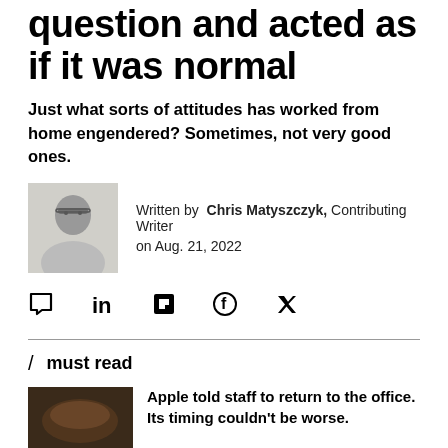question and acted as if it was normal
Just what sorts of attitudes has worked from home engendered? Sometimes, not very good ones.
Written by Chris Matyszczyk, Contributing Writer on Aug. 21, 2022
[Figure (other): Social sharing icons: comment, LinkedIn, Flipboard, Facebook, Twitter]
/ must read
Apple told staff to return to the office. Its timing couldn't be worse.